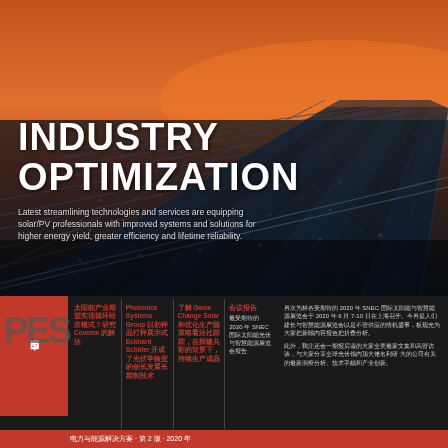[Figure (photo): Solar/PV panel field photographed at sunset/dusk with orange sky, blue solar panels arranged in diagonal grid pattern]
INDUSTRY OPTIMIZATION
Latest streamlining technologies and services are equipping solar/PV professionals with improved systems and solutions for higher energy yield, greater efficiency and lifetime reliability.
太阳能产业期望实现循环经济模式？研究 Coveme 的解法
Photonics Systems Group 以初样品打样展示式 Eckhard Schöler 开成了光伏学验室的创长发展长期制技术
了解 Game Change Solar 和优化生产园策略看法社踪踪，在探建共彩的背景下，持续生产成品
会议报告 最受期待的 2020 年 SNEC 国际太阳能光伏与智慧能源展览会报告
再次为林各受期待的 2020 年 SNEC 国际太阳能与智慧能源展览会于 2020 年 6 月 7-10 日在上海召开。今再提人们建长与智慧能源展览会以是不管供应的情机盛事，板观光为大家把新顾内容报色把折叠分析。此外，我注还会一期报后读的大家全美最家文集和高管访谈，与大家分享全球光伏领内顶大佬名利研 大的公司有关的最新洞察分析、技术手颇和产业创新。
电力与能源解决方案 · 第 2 版 · 2020 年